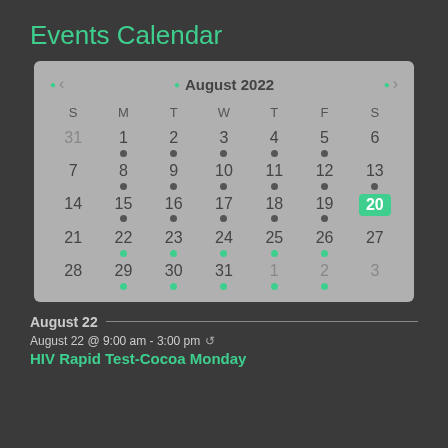Events Calendar
[Figure (other): Interactive events calendar showing August 2022. Navigation arrows on left and right. Days of week headers S M T W T F S. Calendar grid with dates 31, 1-6 (week1, dots on 1,2,3,4,5), 7-13 (week2, dots on 8,9,10,11,12,13), 14-20 (week3, dots on 15,16,17,18,19; 20 highlighted in green), 21-27 (week4, green dots on 22,23,24,25,26), 28-31,1,2,3 (week5, green dots on 29,30,31,1,2).]
August 22
August 22 @ 9:00 am - 3:00 pm ↺
HIV Rapid Test-Cocoa Monday